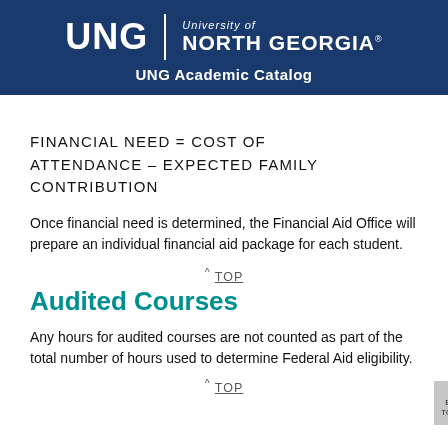UNG | University of North Georgia — UNG Academic Catalog
Once financial need is determined, the Financial Aid Office will prepare an individual financial aid package for each student.
^ TOP
Audited Courses
Any hours for audited courses are not counted as part of the total number of hours used to determine Federal Aid eligibility.
^ TOP